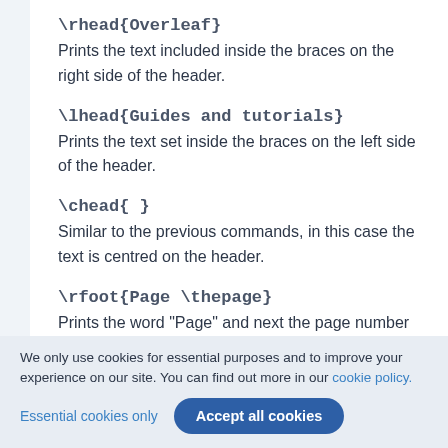\rhead{Overleaf}
Prints the text included inside the braces on the right side of the header.
\lhead{Guides and tutorials}
Prints the text set inside the braces on the left side of the header.
\chead{ }
Similar to the previous commands, in this case the text is centred on the header.
\rfoot{Page \thepage}
Prints the word "Page" and next the page number which is automatically set by \thepage on the
We only use cookies for essential purposes and to improve your experience on our site. You can find out more in our cookie policy.
Essential cookies only
Accept all cookies